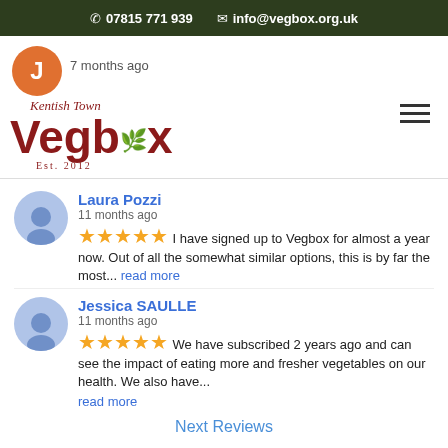07815 771 939   info@vegbox.org.uk
[Figure (logo): Kentish Town Vegbox logo with orange J avatar, Est. 2012, and hamburger menu]
7 months ago
Laura Pozzi
11 months ago
★★★★★ I have signed up to Vegbox for almost a year now. Out of all the somewhat similar options, this is by far the most... read more
Jessica SAULLE
11 months ago
★★★★★ We have subscribed 2 years ago and can see the impact of eating more and fresher vegetables on our health. We also have... read more
Next Reviews